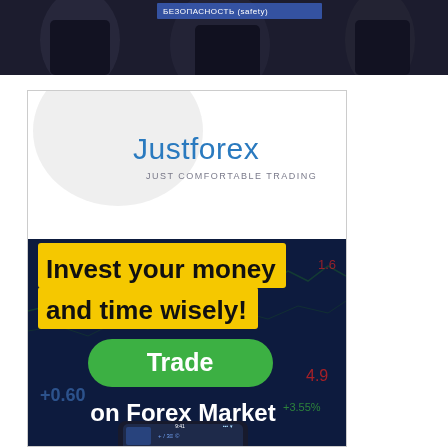[Figure (photo): Dark background photo showing people at top of page, with a highlighted text overlay reading 'БЕЗОПАСНОСТЬ (safety)' in blue highlight]
[Figure (illustration): JustForex advertisement banner. White circular logo area at top with 'Justforex' in blue text and 'JUST COMFORTABLE TRADING' subtitle. Dark blue/navy background with forex trading chart. Yellow highlighted text 'Invest your money and time wisely!'. Green rounded button labeled 'Trade'. White text 'on Forex Market'. Forex figures visible: +0.60, 4.9, 1.6. Smartphone showing trading app at bottom.]